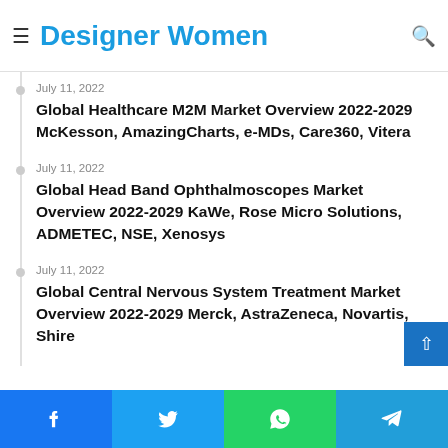≡ Designer Women 🔍
Global Automotive Brake Systems Market Overview 2022-2029 Knorr-Bremse, Nissin Kogyo, Robert Bosch...
July 11, 2022 — Global Healthcare M2M Market Overview 2022-2029 McKesson, AmazingCharts, e-MDs, Care360, Vitera
July 11, 2022 — Global Head Band Ophthalmoscopes Market Overview 2022-2029 KaWe, Rose Micro Solutions, ADMETEC, NSE, Xenosys
July 11, 2022 — Global Central Nervous System Treatment Market Overview 2022-2029 Merck, AstraZeneca, Novartis, Shire
July 11, 2022 — Global Veterinary Healthcare Market Overview 2022-2029 Meiji, Ouro Fino Saude, Animalcare Group, Par...
July 11, 2022